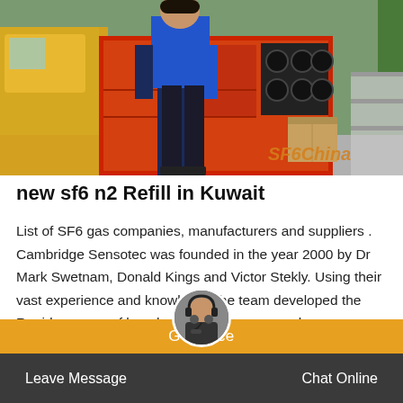[Figure (photo): A worker in a blue shirt standing next to a yellow truck with industrial SF6 gas handling equipment, red and orange machinery panels with ventilation grilles, cardboard boxes. 'SF6China' watermark visible in orange at bottom right.]
new sf6 n2 Refill in Kuwait
List of SF6 gas companies, manufacturers and suppliers . Cambridge Sensotec was founded in the year 2000 by Dr Mark Swetnam, Donald Kings and Victor Stekly. Using their vast experience and knowledge the team developed the Rapidox range of bench mounted oxygen analysers.
Get price   Leave Message   Chat Online